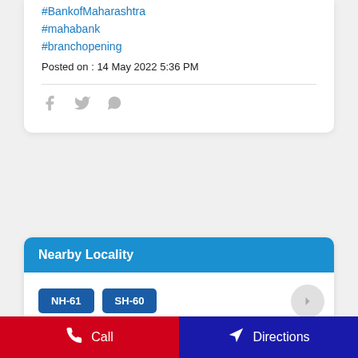#BankofMaharashtra
#mahabank
#branchopening
Posted on : 14 May 2022 5:36 PM
[Figure (other): Social share icons: Facebook, Twitter, WhatsApp]
Nearby Locality
NH-61  SH-60
Call
Directions